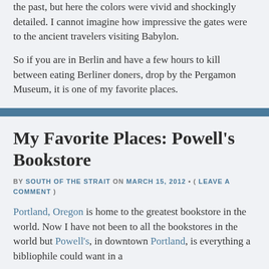the past, but here the colors were vivid and shockingly detailed. I cannot imagine how impressive the gates were to the ancient travelers visiting Babylon.
So if you are in Berlin and have a few hours to kill between eating Berliner doners, drop by the Pergamon Museum, it is one of my favorite places.
My Favorite Places: Powell's Bookstore
BY SOUTH OF THE STRAIT ON MARCH 15, 2012 • ( LEAVE A COMMENT )
Portland, Oregon is home to the greatest bookstore in the world. Now I have not been to all the bookstores in the world but Powell's, in downtown Portland, is everything a bibliophile could want in a